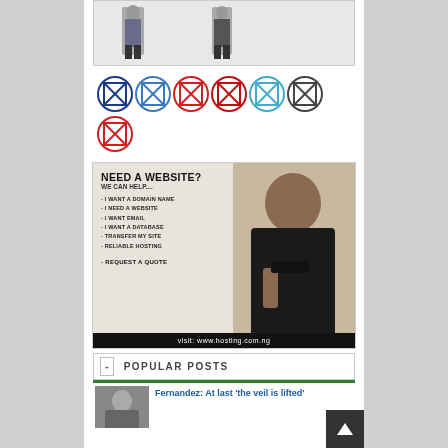[Figure (photo): Fashion photo area showing two male figures standing, cropped at top]
[Figure (illustration): Row of 7 social media icon circles in various colors (blue, red, light blue, dark): 6 in first row, 1 in second row. Each shows an X-box icon inside a circle.]
[Figure (infographic): Web hosting advertisement banner. Text: NEED A WEBSITE? WE CAN HELP.... with bullet list: I WANT A DOMAIN NAME, I NEED A WEBSITE, I WANT EMAIL, I WANT A DATABASE, TRANSFER MY SITE, RELIABLE HOSTING, REQUEST A QUOTE. Woman in black suit with glasses. Footer: visit: www.hosting.com.ng]
POPULAR POSTS
[Figure (photo): Thumbnail photo of a person for a popular post]
Fernandez: At last 'the veil is lifted'